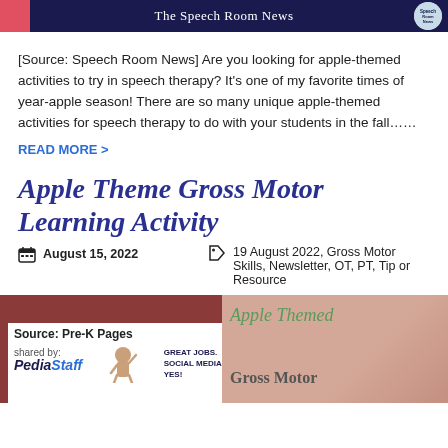The Speech Room News
[Source: Speech Room News] Are you looking for apple-themed activities to try in speech therapy? It's one of my favorite times of year-apple season! There are so many unique apple-themed activities for speech therapy to do with your students in the fall……
READ MORE >
Apple Theme Gross Motor Learning Activity
August 15, 2022
19 August 2022, Gross Motor Skills, Newsletter, OT, PT, Tip or Resource
[Figure (photo): Pre-K Pages source card with PediaStaff branding and Great Jobs. Social Media. Yes! text]
[Figure (photo): Apple Themed Gross Motor activity image with decorative script text]